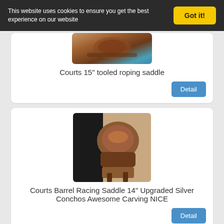This website uses cookies to ensure you get the best experience on our website
Got it!
[Figure (photo): Photo of a Courts 15" tooled roping saddle, brown leather with tooled decorative carving, shown on a saddle stand against a blue background.]
Courts 15" tooled roping saddle
Detail
[Figure (photo): Photo of a Courts Barrel Racing Saddle 14" with upgraded silver conchos and awesome carving, brown leather saddle shown on stand.]
Courts Barrel Racing Saddle 14" Upgraded Silver Conchos Awesome Carving NICE
Detail
[Figure (photo): Partial photo of another saddle, brown leather, partially visible at bottom of page.]